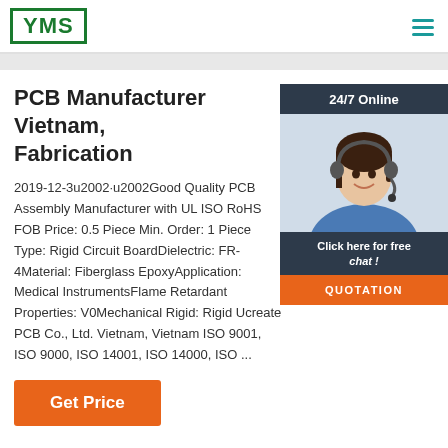YMS
[Figure (logo): YMS logo with green border and green text]
PCB Manufacturer Vietnam, Fabrication
2019-12-3u2002·u2002Good Quality PCB Assembly Manufacturer with UL ISO RoHS FOB Price: 0.5 Piece Min. Order: 1 Piece Type: Rigid Circuit BoardDielectric: FR-4Material: Fiberglass EpoxyApplication: Medical InstrumentsFlame Retardant Properties: V0Mechanical Rigid: Rigid Ucreate PCB Co., Ltd. Vietnam, Vietnam ISO 9001, ISO 9000, ISO 14001, ISO 14000, ISO ...
[Figure (photo): Customer service representative wearing headset, with 24/7 Online header, Click here for free chat text, and QUOTATION button]
Get Price